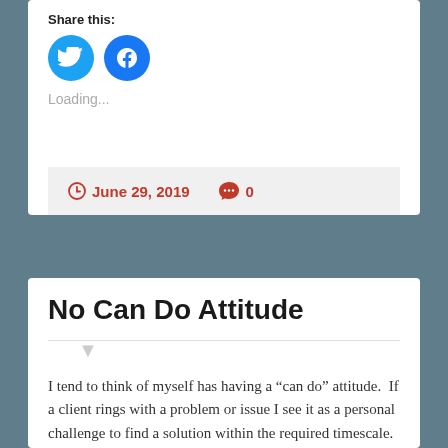Share this:
[Figure (illustration): Two circular social media share buttons: Twitter (blue bird icon) and Facebook (blue F icon)]
Loading...
June 29, 2019   0
No Can Do Attitude
I tend to think of myself has having a “can do” attitude.  If a client rings with a problem or issue I see it as a personal challenge to find a solution within the required timescale.  This isn’t always possible, and